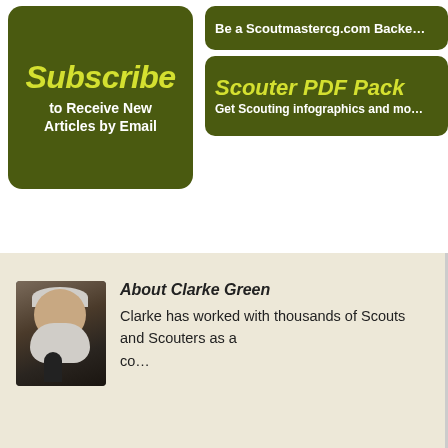[Figure (illustration): Green Subscribe button with yellow italic text 'Subscribe' and white text 'to Receive New Articles by Email']
[Figure (illustration): Green button with white text 'Be a Scoutmastercg.com Backer']
[Figure (illustration): Green Scouter PDF Pack button with yellow title 'Scouter PDF Pack' and white subtitle 'Get Scouting infographics and mo...']
[Figure (photo): Photo of Clarke Green, an older bald man with a white beard and glasses, near a microphone]
About Clarke Green
Clarke has worked with thousands of Scouts and Scouters as a ...